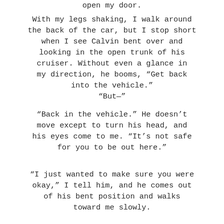open my door.
With my legs shaking, I walk around the back of the car, but I stop short when I see Calvin bent over and looking in the open trunk of his cruiser. Without even a glance in my direction, he booms, “Get back into the vehicle.”
“But—”
“Back in the vehicle.” He doesn’t move except to turn his head, and his eyes come to me. “It’s not safe for you to be out here.”
“I just wanted to make sure you were okay,” I tell him, and he comes out of his bent position and walks toward me slowly.